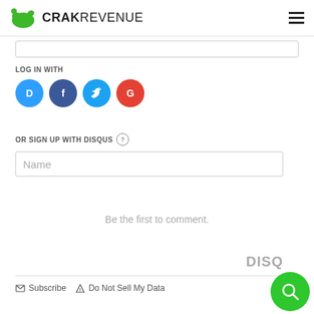CRAKREVENUE
LOG IN WITH
[Figure (illustration): Social login icons: Disqus (blue), Facebook (dark blue), Twitter (light blue), Google (red)]
OR SIGN UP WITH DISQUS
Name (input placeholder)
Be the first to comment.
Subscribe   Do Not Sell My Data   DISQUS